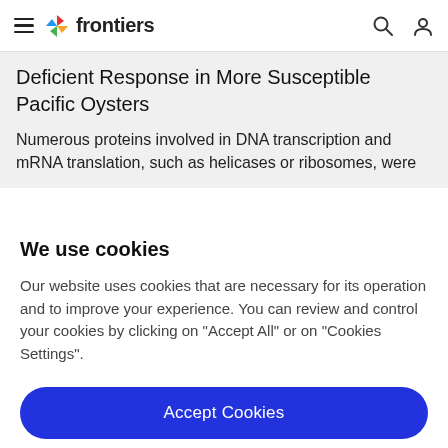frontiers
Deficient Response in More Susceptible Pacific Oysters
Numerous proteins involved in DNA transcription and mRNA translation, such as helicases or ribosomes, were
We use cookies
Our website uses cookies that are necessary for its operation and to improve your experience. You can review and control your cookies by clicking on "Accept All" or on "Cookies Settings".
Accept Cookies
Cookies Settings